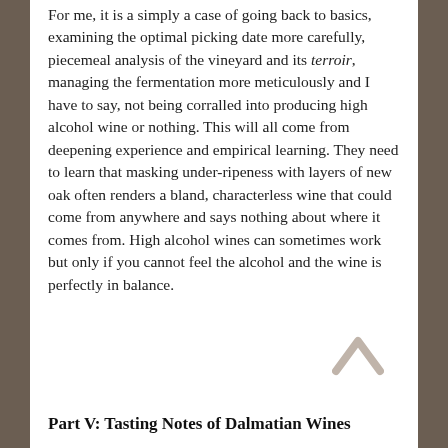For me, it is a simply a case of going back to basics, examining the optimal picking date more carefully, piecemeal analysis of the vineyard and its terroir, managing the fermentation more meticulously and I have to say, not being corralled into producing high alcohol wine or nothing. This will all come from deepening experience and empirical learning. They need to learn that masking under-ripeness with layers of new oak often renders a bland, characterless wine that could come from anywhere and says nothing about where it comes from. High alcohol wines can sometimes work but only if you cannot feel the alcohol and the wine is perfectly in balance.
Part V: Tasting Notes of Dalmatian Wines